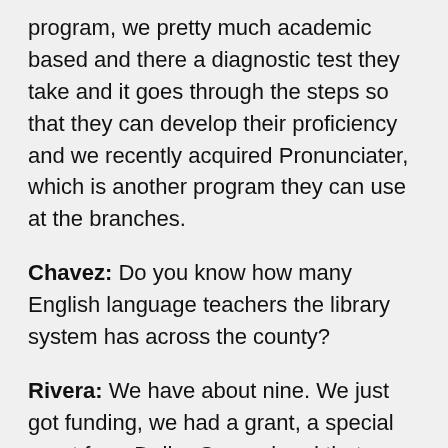program, we pretty much academic based and there a diagnostic test they take and it goes through the steps so that they can develop their proficiency and we recently acquired Pronunciater, which is another program they can use at the branches.
Chavez: Do you know how many English language teachers the library system has across the county?
Rivera: We have about nine. We just got funding, we had a grant, a special grant from Dollar General and that allowed us two hire to part time, casual instructors and so they come in just for the sake of teaching the class. That particular grant was a cute story, initially one of the owners of Dollar General noticed that his employees were now learning to speak English better and when he asked around what happened, it was their students were actually going to our Chickasaw Branch to learn English from one of our instructors, so he decided that he was